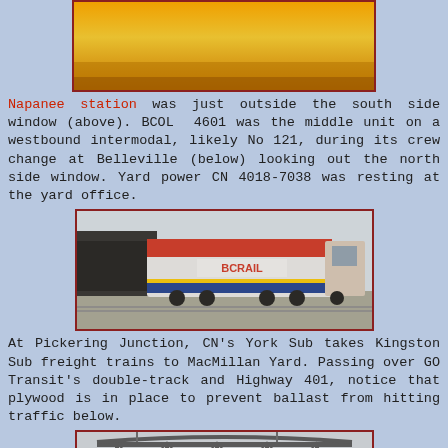[Figure (photo): Top portion of a photo showing a golden/yellow warm-toned scene, partially cropped at top of page]
Napanee station was just outside the south side window (above). BCOL 4601 was the middle unit on a westbound intermodal, likely No 121, during its crew change at Belleville (below) looking out the north side window. Yard power CN 4018-7038 was resting at the yard office.
[Figure (photo): A BC Rail locomotive (BCRAIL) in white, blue and red livery photographed from trackside, moving through a yard.]
At Pickering Junction, CN's York Sub takes Kingston Sub freight trains to MacMillan Yard. Passing over GO Transit's double-track and Highway 401, notice that plywood is in place to prevent ballast from hitting traffic below.
[Figure (photo): Bottom portion showing a railway bridge structure, steel truss bridge, partially cropped at bottom of page]